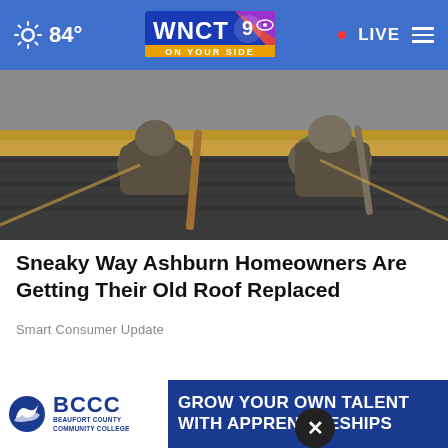84° WNCT 9 ON YOUR SIDE • LIVE
[Figure (photo): Two workers on a rooftop, viewed from above, working on roof installation or replacement]
Sneaky Way Ashburn Homeowners Are Getting Their Old Roof Replaced
Smart Consumer Update
WHAT DO YOU THINK?
Do you think that formal charges will soon be announced against former Trump Administration and campaign officials for their efforts to overturn the 2020 presidential election?
[Figure (logo): BCCC Beaufort County Community College advertisement banner - GROW YOUR OWN TALENT WITH APPRENTICESHIPS]